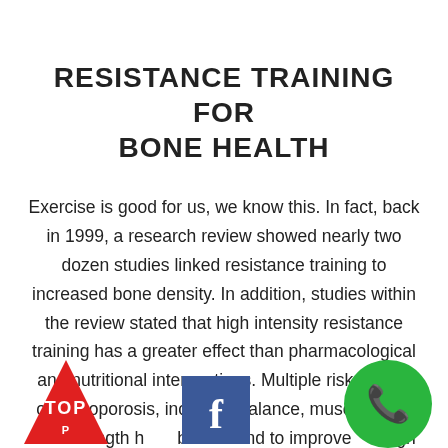RESISTANCE TRAINING FOR BONE HEALTH
Exercise is good for us, we know this. In fact, back in 1999, a research review showed nearly two dozen studies linked resistance training to increased bone density. In addition, studies within the review stated that high intensity resistance training has a greater effect than pharmacological and nutritional interventions. Multiple risk factors of osteoporosis, including balance, muscle mass and strength have been found to improve through resistance tra...
[Figure (logo): Red triangle TOP badge logo overlapping bottom-left]
[Figure (logo): Facebook 'f' icon square overlapping bottom-center]
[Figure (logo): Green circle phone icon overlapping bottom-right]